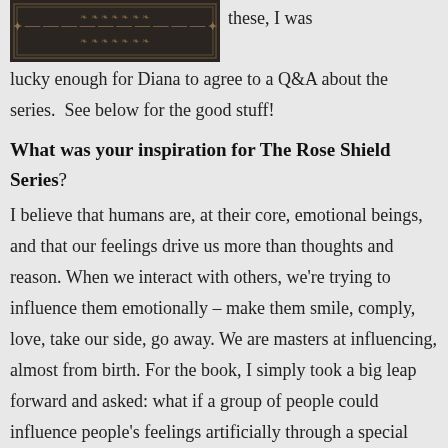[Figure (photo): Dark decorative book cover image for The Rose Shield Series]
these, I was lucky enough for Diana to agree to a Q&A about the series.  See below for the good stuff!
What was your inspiration for The Rose Shield Series?
I believe that humans are, at their core, emotional beings, and that our feelings drive us more than thoughts and reason. When we interact with others, we're trying to influence them emotionally – make them smile, comply, love, take our side, go away. We are masters at influencing, almost from birth. For the book, I simply took a big leap forward and asked: what if a group of people could influence people's feelings artificially through a special talent? What power that